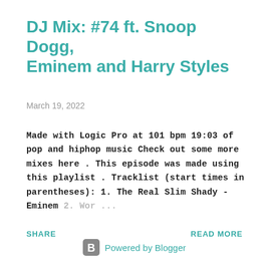DJ Mix: #74 ft. Snoop Dogg, Eminem and Harry Styles
March 19, 2022
Made with Logic Pro at 101 bpm 19:03 of pop and hiphop music Check out some more mixes here . This episode was made using this playlist . Tracklist (start times in parentheses): 1. The Real Slim Shady - Eminem 2. Wor ...
SHARE
READ MORE
Powered by Blogger